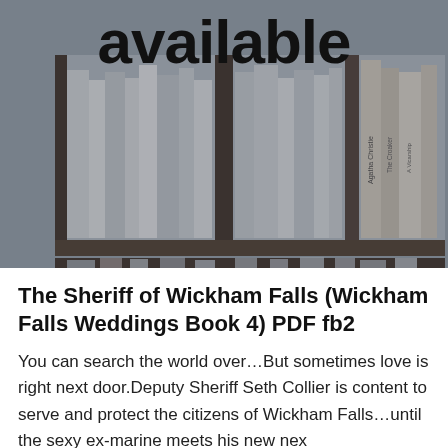[Figure (photo): A photo of bookshelves filled with books of varying sizes and colors, with the word 'available' in large bold black text overlaid at the top center.]
The Sheriff of Wickham Falls (Wickham Falls Weddings Book 4) PDF fb2
You can search the world over…But sometimes love is right next door.Deputy Sheriff Seth Collier is content to serve and protect the citizens of Wickham Falls…until the sexy ex-marine meets his new nex